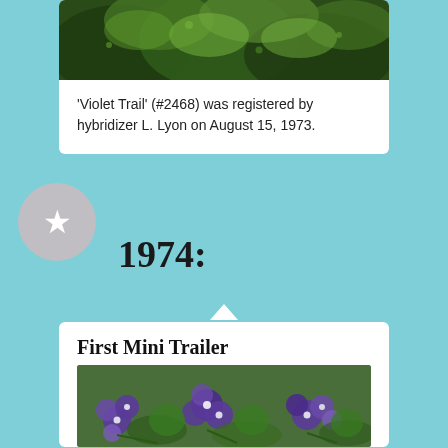[Figure (photo): Close-up photo of green leaves/plant foliage, dark green]
'Violet Trail' (#2468) was registered by hybridizer L. Lyon on August 15, 1973.
1974:
First Mini Trailer
[Figure (photo): Photo of purple violet flowers (mini trailer variety) with green leaves]